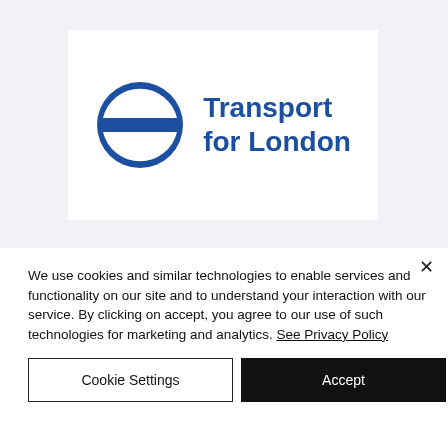[Figure (logo): Transport for London logo — blue roundel (circle with horizontal bar) beside bold blue text 'Transport for London' on white card background]
We use cookies and similar technologies to enable services and functionality on our site and to understand your interaction with our service. By clicking on accept, you agree to our use of such technologies for marketing and analytics. See Privacy Policy
Cookie Settings
Accept